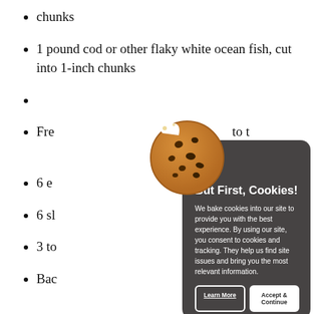chunks
1 pound cod or other flaky white ocean fish, cut into 1-inch chunks
(partially obscured by cookie modal)
Fre... to t...
6 eg...
6 sl...
3 to...
Bac... 172...
[Figure (illustration): Cookie emoji icon (chocolate chip cookie) overlapping the list and modal]
But First, Cookies!
We bake cookies into our site to provide you with the best experience. By using our site, you consent to cookies and tracking. They help us find site issues and bring you the most relevant information.
Learn More | Accept & Continue